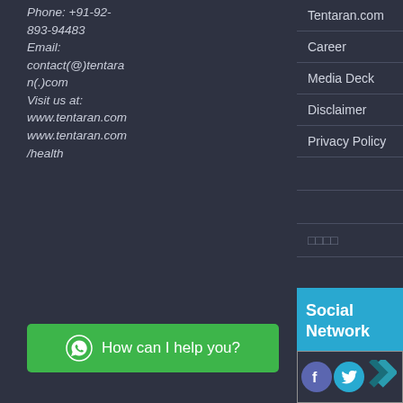Phone: +91-92-893-94483
Email: contact(@)tentaran(.)com
Visit us at: www.tentaran.com www.tentaran.com/health
Tentaran.com
Career
Media Deck
Disclaimer
Privacy Policy
□□□□
Social Network
[Figure (infographic): Social network icons: Facebook (purple circle), Twitter (blue circle), and a dark teal chevron/arrow icon]
How can I help you?